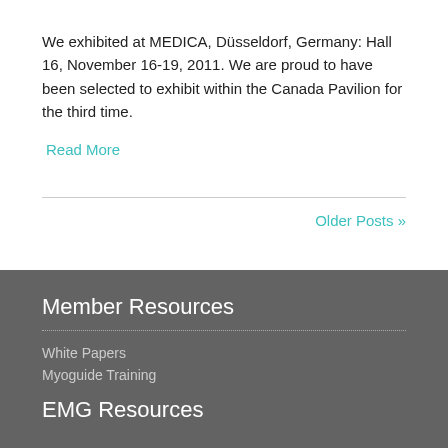We exhibited at MEDICA, Düsseldorf, Germany: Hall 16, November 16-19, 2011. We are proud to have been selected to exhibit within the Canada Pavilion for the third time.
Read More
Older Posts »
Member Resources
White Papers
Myoguide Training
EMG Resources